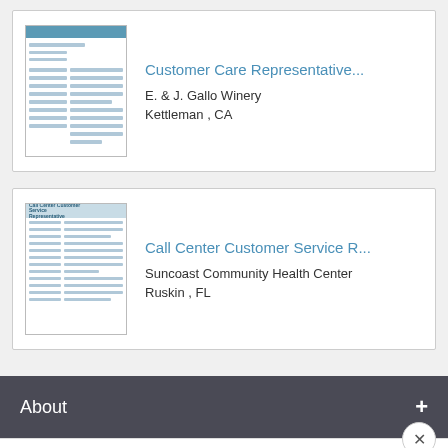[Figure (screenshot): Thumbnail of a resume for Customer Care Representative job]
Customer Care Representative...
E. & J. Gallo Winery
Kettleman , CA
[Figure (screenshot): Thumbnail of a resume for Call Center Customer Service Representative job]
Call Center Customer Service R...
Suncoast Community Health Center
Ruskin , FL
About
Livecareer.com and our partners use cookies. These cookies only collect personal data when you opt in to build a resume and cover letter. Learn more